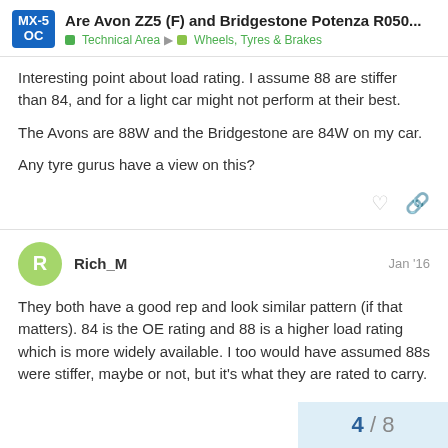Are Avon ZZ5 (F) and Bridgestone Potenza R050... | Technical Area | Wheels, Tyres & Brakes
Interesting point about load rating. I assume 88 are stiffer than 84, and for a light car might not perform at their best.

The Avons are 88W and the Bridgestone are 84W on my car.

Any tyre gurus have a view on this?
Rich_M   Jan '16
They both have a good rep and look similar pattern (if that matters). 84 is the OE rating and 88 is a higher load rating which is more widely available. I too would have assumed 88s were stiffer, maybe or not, but it's what they are rated to carry.
4 / 8